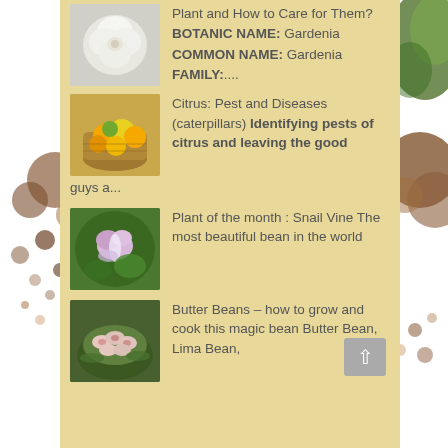[Figure (illustration): Decorative brown circles on white background, left side]
[Figure (illustration): Decorative green and brown rounded shapes on right side]
[Figure (photo): White gardenia flower photo thumbnail]
Plant and How to Care for Them? BOTANIC NAME: Gardenia COMMON NAME: Gardenia FAMILY:....
[Figure (photo): Basket of citrus fruits (oranges, lemons) photo thumbnail]
Citrus: Pest and Diseases (caterpillars) Identifying pests of citrus and leaving the good guys a...
[Figure (photo): Snail vine flower photo thumbnail]
Plant of the month : Snail Vine The most beautiful bean in the world
[Figure (photo): Butter beans / lima beans in banana leaf photo thumbnail]
Butter Beans – how to grow and cook this magic bean Butter Bean, Lima Bean,